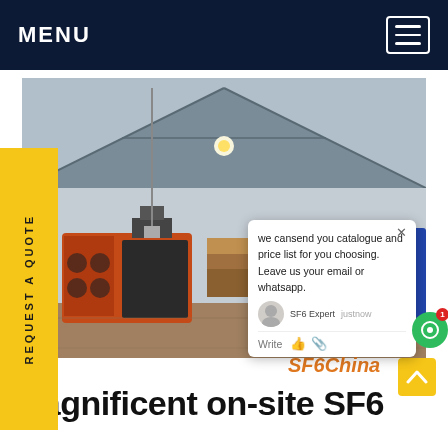MENU
[Figure (photo): Industrial warehouse/factory floor with SF6 gas handling equipment including a large orange machine, pallets, and a blue truck visible in background. Chat popup overlay visible.]
REQUEST A QUOTE
we cansend you catalogue and price list for you choosing. Leave us your email or whatsapp. SF6 Expert  justnow  Write
SF6China
magnificent on-site SF6